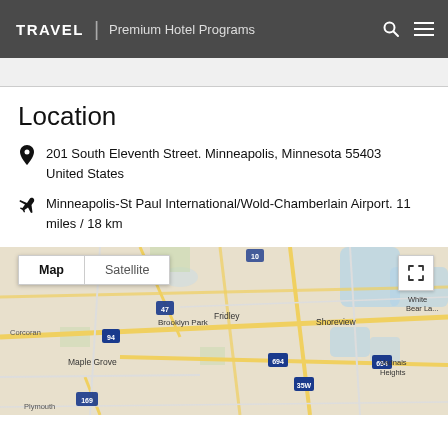TRAVEL | Premium Hotel Programs
Location
201 South Eleventh Street. Minneapolis, Minnesota 55403 United States
Minneapolis-St Paul International/Wold-Chamberlain Airport. 11 miles / 18 km
[Figure (map): Google map showing Minneapolis-St Paul area with roads, highways (I-94, I-694, 35W, 169, 47), and neighborhoods including Maple Grove, Brooklyn Park, Fridley, Shoreview, Vadnais Heights, White Bear Lake. Map and Satellite toggle tabs visible at top left. Expand icon at top right.]